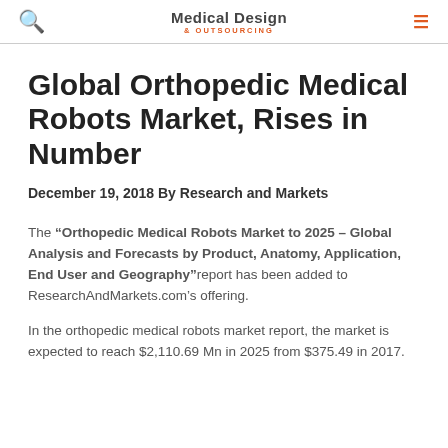Medical Design & Outsourcing
Global Orthopedic Medical Robots Market, Rises in Number
December 19, 2018 By Research and Markets
The “Orthopedic Medical Robots Market to 2025 – Global Analysis and Forecasts by Product, Anatomy, Application, End User and Geography” report has been added to ResearchAndMarkets.com’s offering.
In the orthopedic medical robots market report, the market is expected to reach $2,110.69 Mn in 2025 from $375.49 in 2017.